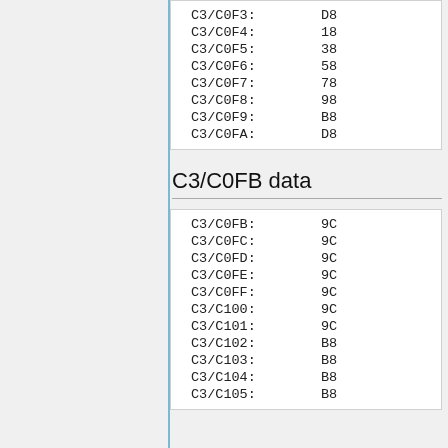| Register | Value |
| --- | --- |
| C3/C0F3: | D8 |
| C3/C0F4: | 18 |
| C3/C0F5: | 38 |
| C3/C0F6: | 58 |
| C3/C0F7: | 78 |
| C3/C0F8: | 98 |
| C3/C0F9: | B8 |
| C3/C0FA: | D8 |
C3/C0FB data
| Register | Value |
| --- | --- |
| C3/C0FB: | 9C |
| C3/C0FC: | 9C |
| C3/C0FD: | 9C |
| C3/C0FE: | 9C |
| C3/C0FF: | 9C |
| C3/C100: | 9C |
| C3/C101: | 9C |
| C3/C102: | B8 |
| C3/C103: | B8 |
| C3/C104: | B8 |
| C3/C105: | B8 |